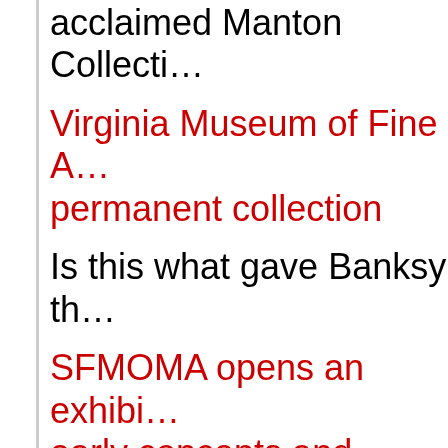acclaimed Manton Collecti…
Virginia Museum of Fine A… permanent collection
Is this what gave Banksy th…
SFMOMA opens an exhibi… early concepts and plans o…
Exhibition at Museum Riet… Buddhist art and culture
Rare ancient funerary plac…